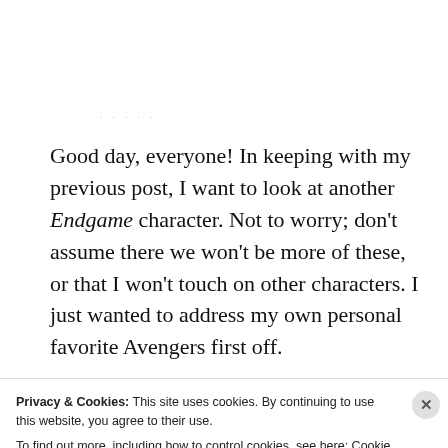· · · · ·
Good day, everyone! In keeping with my previous post, I want to look at another Endgame character. Not to worry; don't assume there we won't be more of these, or that I won't touch on other characters. I just wanted to address my own personal favorite Avengers first off.
I've always felt a strong connection to Steve Rogers,
Privacy & Cookies: This site uses cookies. By continuing to use this website, you agree to their use.
To find out more, including how to control cookies, see here: Cookie Policy
Close and accept